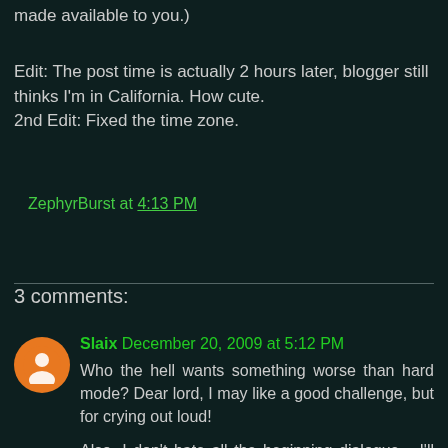made available to you.)
Edit: The post time is actually 2 hours later, blogger still thinks I'm in California. How cute.
2nd Edit: Fixed the time zone.
ZephyrBurst at 4:13 PM
Share
3 comments:
Slaix December 20, 2009 at 5:12 PM
Who the hell wants something worse than hard mode? Dear lord, I may like a good challenge, but for crying out loud!

Also, I don't hate all the beginning dialogue... I'll be sad to see it go. T___T
Reply